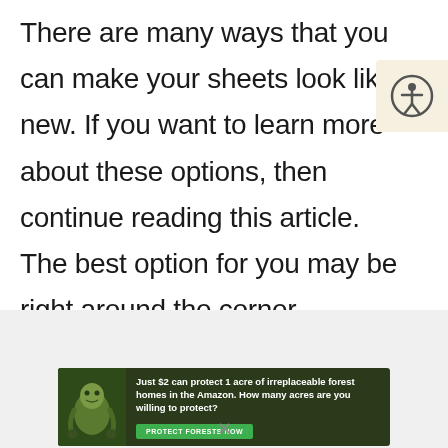There are many ways that you can make your sheets look like new. If you want to learn more about these options, then continue reading this article. The best option for you may be right around the corner.
[Figure (other): Accessibility icon button — circular person with arms outstretched inside a circle, on a cream/beige background, positioned top-right of the page]
[Figure (other): Advertisement banner for Amazon forest protection: 'Just $2 can protect 1 acre of irreplaceable forest homes in the Amazon. How many acres are you willing to protect?' with a green PROTECT FORESTS NOW button and a sloth image on the left side, dark forest background.]